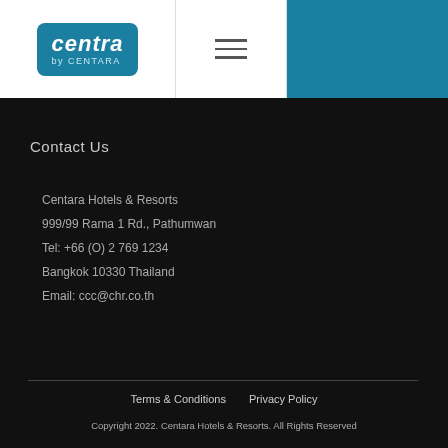[Figure (logo): Centra by CENTARA logo — teal rounded rectangle with white italic text]
Contact Us
Centara Hotels & Resorts
999/99 Rama 1 Rd., Pathumwan
Tel: +66 (O) 2 769 1234
Bangkok 10330 Thailand
Email: ccc@chr.co.th
Terms & Conditions   Privacy Policy
Copyright 2022. Centara Hotels & Resorts. All Rights Reserved